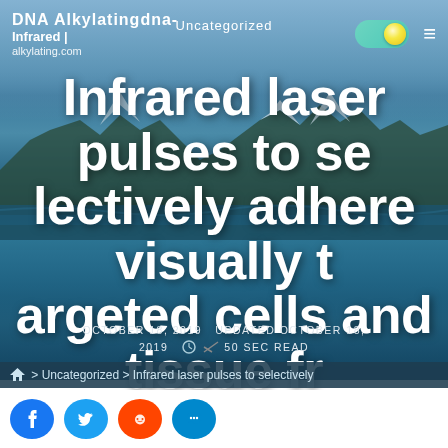Uncategorized
DNA  Alkylatingdna-Infrared | alkylating.com
Infrared laser pulses to selectively adhere visually targeted cells and tissue fragments to a thermoplastic
OCTOBER 18, 2019  UPDATED OCTOBER 18, 2019  50 SEC READ
> Uncategorized > Infrared laser pulses to selectively